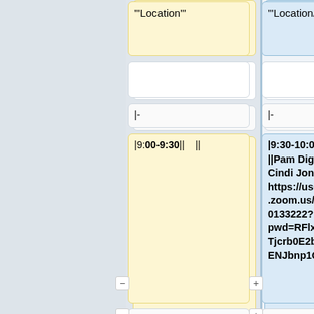| "Location" | "Location/WebLink" |
| --- | --- |
|  |  |
| |- | |- |
| |9:00-9:30||    || | |9:30-10:00
||Pam Diggle & Cindi Jones||
https://us02web.zoom.us/j/86120133222?pwd=RFlxYXFpTjcrb0E2bFY5SENJbnp1QT09 |
| |- | |- |
| |9:30-10:00 || Nikisha Patel  || PBB 316 | |12:15-1:00 || Grad student "Lunch" || https://us02web.zoom.us/j/8604 |